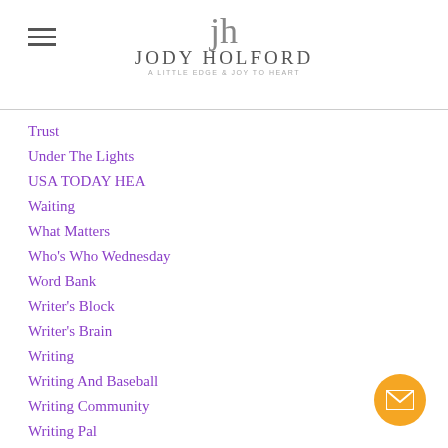Jody Holford
Trust
Under The Lights
USA TODAY HEA
Waiting
What Matters
Who's Who Wednesday
Word Bank
Writer's Block
Writer's Brain
Writing
Writing And Baseball
Writing Community
Writing Pal
Writing Pals
Writing Process
YA
Zach Mason